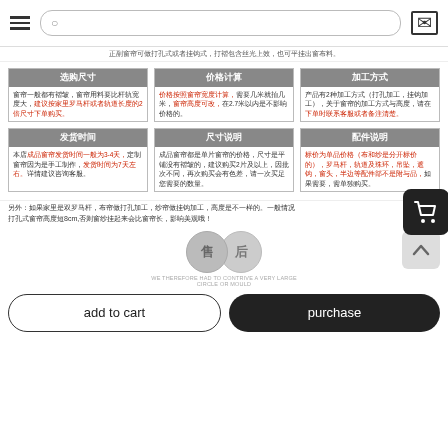[hamburger menu] [search bar] [mail icon]
正副窗帘可做打孔式或者挂钩式，打褶包含丝光上效，也可平挂出窗布料。
| 选购尺寸 | 价格计算 | 加工方式 |
| --- | --- | --- |
| 窗帘一般都有褶皱，窗帘用料要比杆轨宽度大，建议按家里罗马杆或者轨道长度的2倍尺寸下单购买。 | 价格按照窗帘宽度计算，需要几米就拍几米，窗帘高度可改，在2.7米以内是不影响价格的。 | 产品有2种加工方式（打孔加工，挂钩加工），关于窗帘的加工方式与高度，请在下单时联系客服或者备注清楚。 |
| 本店成品窗帘发货时间一般为3-4天，定制窗帘因为是手工制作，发货时间为7天左右，详情建议咨询客服。 | 成品窗帘都是单片窗帘的价格，尺寸是平铺没有褶皱的，建议购买2片及以上，因批次不同，再次购买会有色差，请一次买足您需要的数量。 | 标价为单品价格（布和纱是分开标价的），罗马杆，轨道及珠环，吊坠，遮钩，窗头，半边等配件部不是附与品，如果需要，需单独购买。 |
另外：如果家里是双罗马杆，布帘做打孔加工，纱帘做挂钩加工，高度是不一样的。一般情况打孔式窗帘高度短8cm,否则窗纱挂起来会比窗帘长，影响美观哦！
[Figure (logo): 售后 circular logo with two overlapping grey circles, text WE THEREFORE HAD TO CONTRIVE A VERY LARGE CIRCLE OR MOULD below]
add to cart
purchase